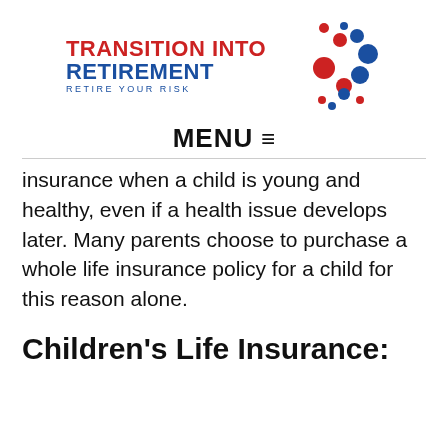[Figure (logo): Transition Into Retirement - Retire Your Risk logo with colored dots pattern]
MENU ≡
insurance when a child is young and healthy, even if a health issue develops later. Many parents choose to purchase a whole life insurance policy for a child for this reason alone.
Children's Life Insurance: